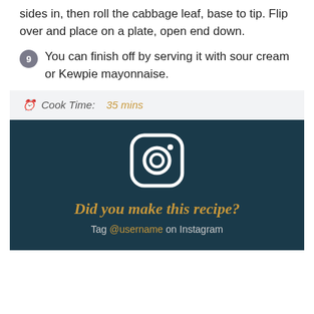sides in, then roll the cabbage leaf, base to tip. Flip over and place on a plate, open end down.
9 You can finish off by serving it with sour cream or Kewpie mayonnaise.
Cook Time: 35 mins
[Figure (logo): Instagram logo icon in white on dark teal background]
Did you make this recipe?
Tag @username on Instagram